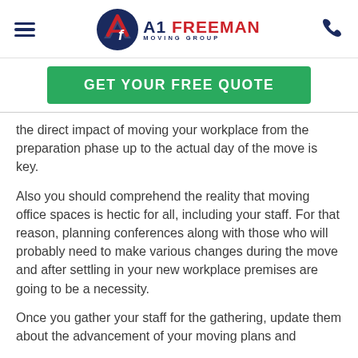A1 Freeman Moving Group
[Figure (logo): A1 Freeman Moving Group logo with circular emblem and phone icon]
GET YOUR FREE QUOTE
the direct impact of moving your workplace from the preparation phase up to the actual day of the move is key.
Also you should comprehend the reality that moving office spaces is hectic for all, including your staff. For that reason, planning conferences along with those who will probably need to make various changes during the move and after settling in your new workplace premises are going to be a necessity.
Once you gather your staff for the gathering, update them about the advancement of your moving plans and